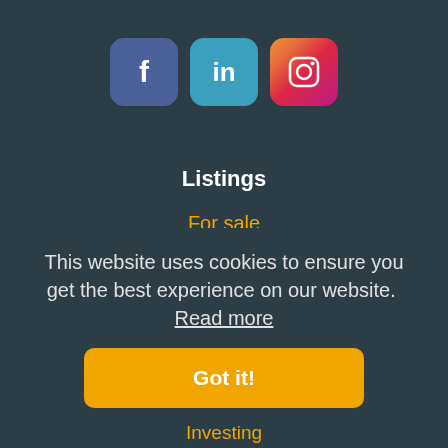[Figure (logo): Three social media icon buttons: Facebook (blue-grey rounded square with 'f'), LinkedIn (light blue rounded square with 'in'), Instagram (gradient orange-pink rounded square with camera icon)]
Listings
For sale
For rent
My searchprofile
This website uses cookies to ensure you get the best experience on our website.  Read more
Got it!
Investing